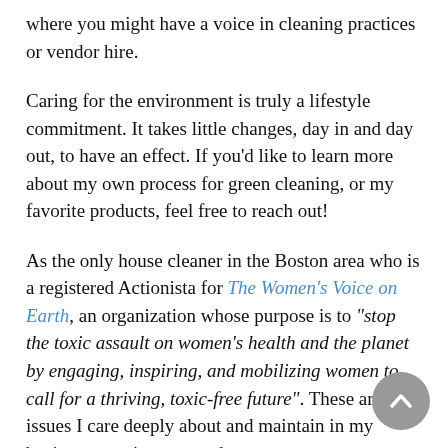where you might have a voice in cleaning practices or vendor hire.
Caring for the environment is truly a lifestyle commitment. It takes little changes, day in and day out, to have an effect. If you'd like to learn more about my own process for green cleaning, or my favorite products, feel free to reach out!
As the only house cleaner in the Boston area who is a registered Actionista for The Women's Voice on Earth, an organization whose purpose is to “stop the toxic assault on women’s health and the planet by engaging, inspiring, and mobilizing women to call for a thriving, toxic-free future”. These are issues I care deeply about and maintain in my business practices every day.